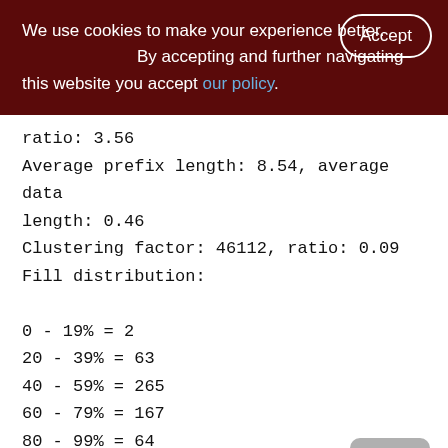We use cookies to make your experience better. By accepting and further navigating this website you accept our policy.
ratio: 3.56
Average prefix length: 8.54, average data length: 0.46
Clustering factor: 46112, ratio: 0.09
Fill distribution:
0 - 19% = 2
20 - 39% = 63
40 - 59% = 265
60 - 79% = 167
80 - 99% = 64

Index XQS_3300_3400_SND_ID (1)